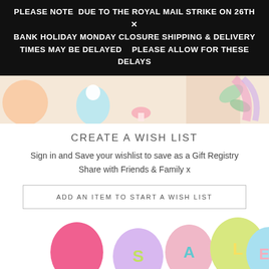PLEASE NOTE  DUE TO THE ROYAL MAIL STRIKE ON 26TH × BANK HOLIDAY MONDAY CLOSURE SHIPPING & DELIVERY TIMES MAY BE DELAYED    PLEASE ALLOW FOR THESE DELAYS
[Figure (illustration): Partial view of a colorful Easter/baby themed banner image with eggs, chick, mushroom, leaves]
CREATE A WISH LIST
Sign in and Save your wishlist to save as a Gift Registry Share with Friends & Family x
ADD AN ITEM TO START A WISH LIST
[Figure (illustration): Colorful sale balloons spelling SALE with a baby underneath, on white background]